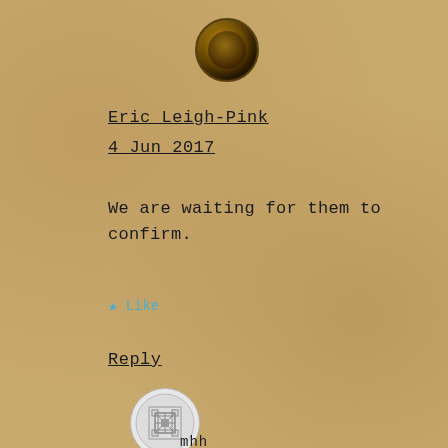[Figure (photo): Dark circular avatar photo with brown/gold tones at the top center]
Eric Leigh-Pink
4 Jun 2017
We are waiting for them to confirm.
★ Like
Reply
[Figure (photo): Circular avatar with geometric/mandala pattern in grey and white]
mhh